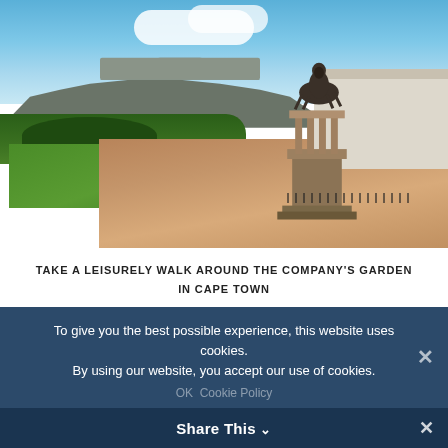[Figure (photo): Outdoor photograph of Company's Garden in Cape Town showing a green lawn, paved brick paths, a bronze equestrian statue on a columned pedestal, Table Mountain in the background under a partly cloudy sky, and a white colonial-style building on the right.]
TAKE A LEISURELY WALK AROUND THE COMPANY'S GARDEN IN CAPE TOWN
Explore the historic Company's Garden
To give you the best possible experience, this website uses cookies. By using our website, you accept our use of cookies.
OK   Cookie Policy
Share This